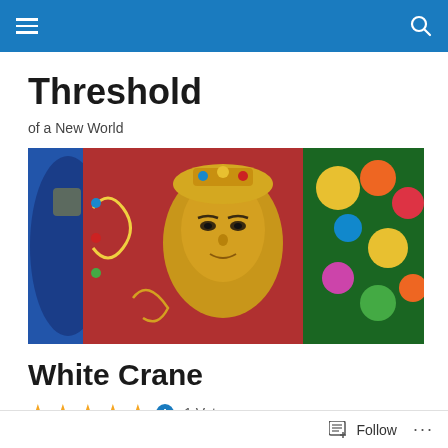Navigation bar with hamburger menu and search icon
Threshold
of a New World
[Figure (photo): A colorful Tibetan Buddhist deity statue with a golden face, surrounded by ornate decorations, jewels, and floral motifs in blue, red, and gold tones.]
White Crane
★★★★★ ℹ 1 Vote
White Crane, a song by Tshanagyang Gyatso, the Sixth
Follow ···